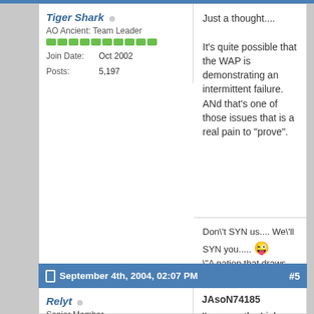Tiger Shark
AO Ancient: Team Leader
Join Date: Oct 2002
Posts: 5,197
Just a thought....

It's quite possible that the WAP is demonstrating an intermittent failure. ANd that's one of those issues that is a real pain to "prove".
Don\'t SYN us.... We\'ll SYN you..... 😜
\'"A nation that draws too broad a difference between its scholars and its warriors will have its thinking done by cowards, and its fighting done by fools.\" - Thucydides
[Figure (logo): Facebook, Twitter, LinkedIn social share icons (black circles)]
Reply With Quote
September 4th, 2004, 02:07 PM  #5
Relyt
Senior Member
Join Date: Dec 2003
JAsoN74185
I've gone the Linksys Wireless Router Route as